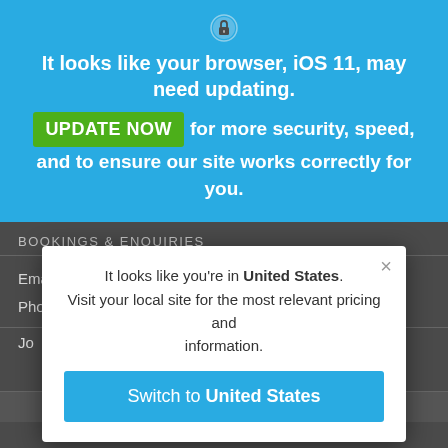[Figure (screenshot): Lock/shield icon in blue browser banner]
It looks like your browser, iOS 11, may need updating.
UPDATE NOW for more security, speed, and to ensure our site works correctly for you.
BOOKINGS & ENQUIRIES
Email: nordic@fiftydegreesnorth.com
Phone: Norway: +47 21 04 01 00
Jo
It looks like you're in United States. Visit your local site for the most relevant pricing and information.
Switch to United States